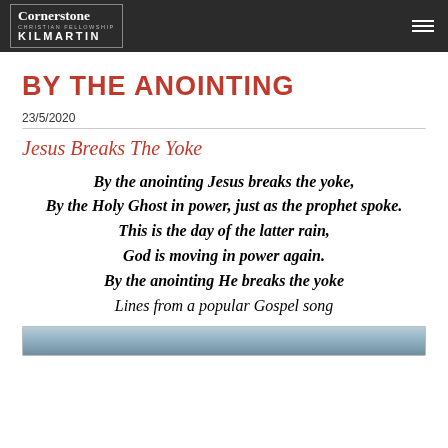Cornerstone Christian Fellowship Kilmartin
BY THE ANOINTING
23/5/2020
Jesus Breaks The Yoke
By the anointing Jesus breaks the yoke,
By the Holy Ghost in power, just as the prophet spoke.
This is the day of the latter rain,
God is moving in power again.
By the anointing He breaks the yoke
Lines from a popular Gospel song
[Figure (photo): Landscape photograph partially visible at the bottom of the page]